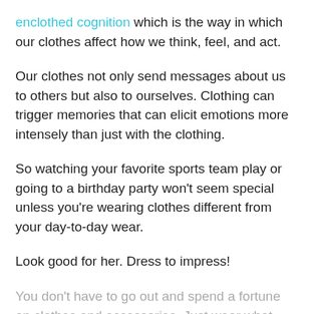enclothed cognition which is the way in which our clothes affect how we think, feel, and act.
Our clothes not only send messages about us to others but also to ourselves. Clothing can trigger memories that can elicit emotions more intensely than just with the clothing.
So watching your favorite sports team play or going to a birthday party won't seem special unless you're wearing clothes different from your day-to-day wear.
Look good for her. Dress to impress!
You don't have to go out and spend a fortune on clothes and accessories. Just wear what makes you